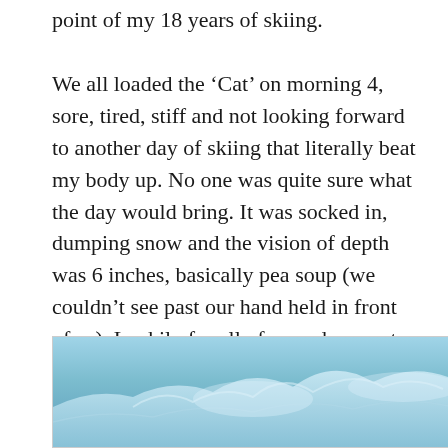point of my 18 years of skiing.
We all loaded the ‘Cat’ on morning 4, sore, tired, stiff and not looking forward to another day of skiing that literally beat my body up. No one was quite sure what the day would bring. It was socked in, dumping snow and the vision of depth was 6 inches, basically pea soup (we couldn’t see past our hand held in front of us). Luckily for all of us and a smart father, a ‘Cat’ can still go to the top of the mountain even in a snow storm. Had we been heli-skiing, we would have been grounded (not able to fly the heli due to weather).
[Figure (photo): A snowy mountain landscape with blue-tinted icy/snow-covered peaks and terrain, viewed in low visibility wintry conditions.]